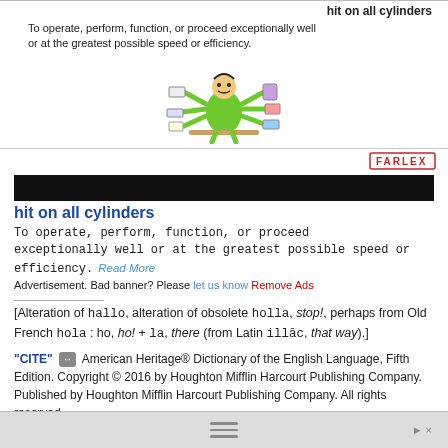hit on all cylinders
To operate, perform, function, or proceed exceptionally well or at the greatest possible speed or efficiency.
[Figure (illustration): Cartoon illustration of a multi-armed green character working at a desk with papers and books, representing working at full speed.]
[Figure (logo): Farlex logo - red bordered box with FARLEX text in red]
[Figure (other): Black advertisement banner bar]
hit on all cylinders
To operate, perform, function, or proceed exceptionally well or at the greatest possible speed or efficiency.  Read More
Advertisement. Bad banner? Please let us know Remove Ads
[Alteration of hallo, alteration of obsolete holla, stop!, perhaps from Old French hola : ho, ho! + la, there (from Latin illāc, that way).]
"CITE" ⇔  American Heritage® Dictionary of the English Language, Fifth Edition. Copyright © 2016 by Houghton Mifflin Harcourt Publishing Company. Published by Houghton Mifflin Harcourt Publishing Company. All rights reserved.